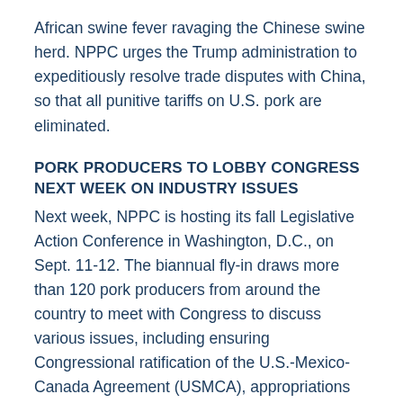African swine fever ravaging the Chinese swine herd. NPPC urges the Trump administration to expeditiously resolve trade disputes with China, so that all punitive tariffs on U.S. pork are eliminated.
PORK PRODUCERS TO LOBBY CONGRESS NEXT WEEK ON INDUSTRY ISSUES
Next week, NPPC is hosting its fall Legislative Action Conference in Washington, D.C., on Sept. 11-12. The biannual fly-in draws more than 120 pork producers from around the country to meet with Congress to discuss various issues, including ensuring Congressional ratification of the U.S.-Mexico-Canada Agreement (USMCA), appropriations funding for 600 new U.S. agricultural inspectors to prevent the spread of foreign animal diseases to the U.S., African swine fever safeguards